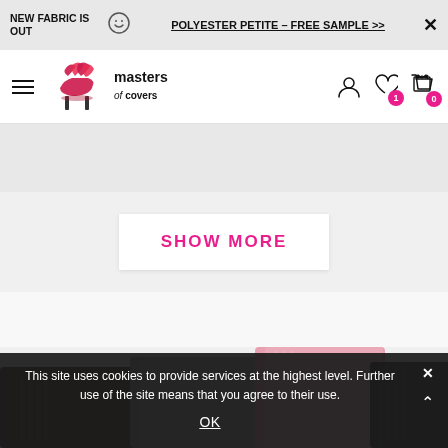NEW FABRIC IS OUT – POLYESTER PETITE – FREE SAMPLE >>
[Figure (logo): Masters of Covers logo with stylized chair graphic and brand name]
SHOW MORE
[Figure (photo): Rolled fabric samples in dark brown, gray, pink colors on white background]
This site uses cookies to provide services at the highest level. Further use of the site means that you agree to their use. OK